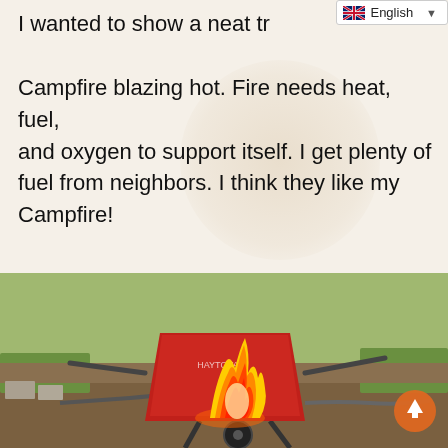English
I wanted to show a neat tr... Campfire blazing hot. Fire needs heat, fuel, and oxygen to support itself. I get plenty of fuel from neighbors. I think they like my Campfire!
Heat and oxygen are easy enough, but I like to use additional oxygen by fashioning a bellows of sorts with a hair dryer and rain gutter.
[Figure (photo): Photo of a red wheelbarrow with a fire blazing from it, outdoors on a dirt/grass area, with a hose or gutter attached to the side.]